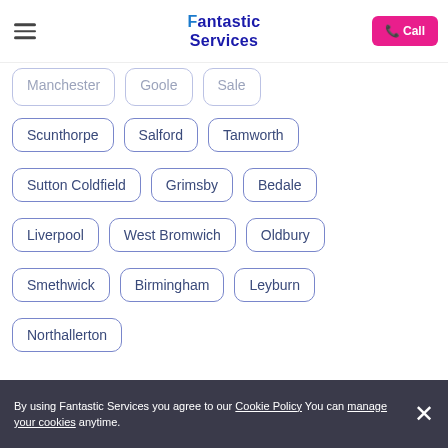Fantastic Services — navigation header with Call button
Manchester
Goole
Sale
Scunthorpe
Salford
Tamworth
Sutton Coldfield
Grimsby
Bedale
Liverpool
West Bromwich
Oldbury
Smethwick
Birmingham
Leyburn
Northallerton
By using Fantastic Services you agree to our Cookie Policy You can manage your cookies anytime.